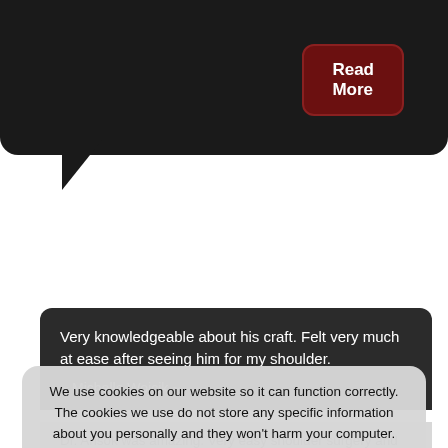[Figure (other): Dark speech bubble graphic at top of page with a tail pointing downward-left]
Read More
Google Reviews
Healthgrades
Very knowledgeable about his craft. Felt very much at ease after seeing him for my shoulder.
~ Michelle Wojcik ~
We use cookies on our website so it can function correctly. The cookies we use do not store any specific information about you personally and they won't harm your computer.
See our privacy policy for more information.
Accept
Dr. Ansok was amazing. Very easy shoulder surgery and amazing job done. 10/10 recommend!
~ Ashley Halligan ~